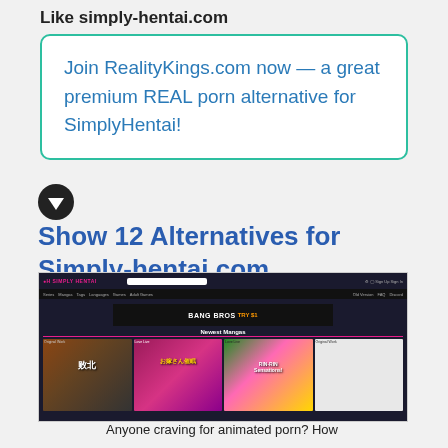Like simply-hentai.com
Join RealityKings.com now — a great premium REAL porn alternative for SimplyHentai!
Show 12 Alternatives for Simply-hentai.com
[Figure (screenshot): Screenshot of simply-hentai.com website showing the Simply Hentai homepage with navigation bar, BangBros banner ad, Newest Mangas section with four manga cover thumbnails.]
Anyone craving for animated porn? How